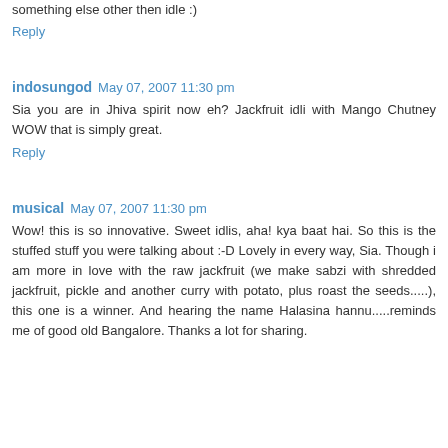something else other then idle :)
Reply
indosungod  May 07, 2007 11:30 pm
Sia you are in Jhiva spirit now eh? Jackfruit idli with Mango Chutney WOW that is simply great.
Reply
musical  May 07, 2007 11:30 pm
Wow! this is so innovative. Sweet idlis, aha! kya baat hai. So this is the stuffed stuff you were talking about :-D Lovely in every way, Sia. Though i am more in love with the raw jackfruit (we make sabzi with shredded jackfruit, pickle and another curry with potato, plus roast the seeds.....), this one is a winner. And hearing the name Halasina hannu.....reminds me of good old Bangalore. Thanks a lot for sharing.